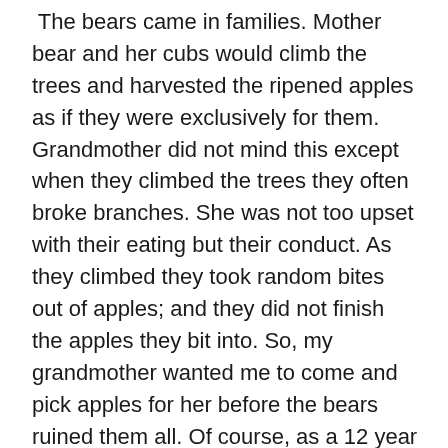The bears came in families. Mother bear and her cubs would climb the trees and harvested the ripened apples as if they were exclusively for them. Grandmother did not mind this except when they climbed the trees they often broke branches. She was not too upset with their eating but their conduct. As they climbed they took random bites out of apples; and they did not finish the apples they bit into. So, my grandmother wanted me to come and pick apples for her before the bears ruined them all. Of course, as a 12 year old boy, I was eager to help, but didn't know what I was in for.
 The apples she wanted me to pick were at the very top of the trees. Very few branches were rugged enough for bears